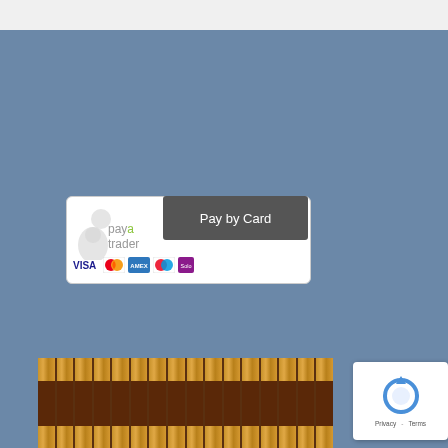[Figure (logo): PayaTrader payment widget showing 'Pay by Card' button with VISA, MasterCard, Amex, Maestro, Solo card logos]
[Figure (logo): PayPal payment banner showing PayPal logo with MasterCard, Maestro, VISA, VISA Debit, Amex, Solo, Direct Debit logos]
[Figure (photo): Row of leather-bound law books on a shelf]
[Figure (other): Google reCAPTCHA widget showing Privacy and Terms links]